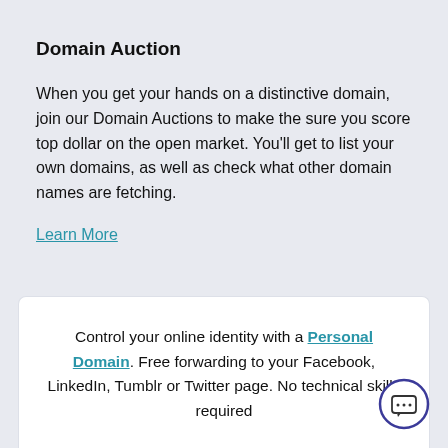Domain Auction
When you get your hands on a distinctive domain, join our Domain Auctions to make the sure you score top dollar on the open market. You'll get to list your own domains, as well as check what other domain names are fetching.
Learn More
Control your online identity with a Personal Domain. Free forwarding to your Facebook, LinkedIn, Tumblr or Twitter page. No technical skills required